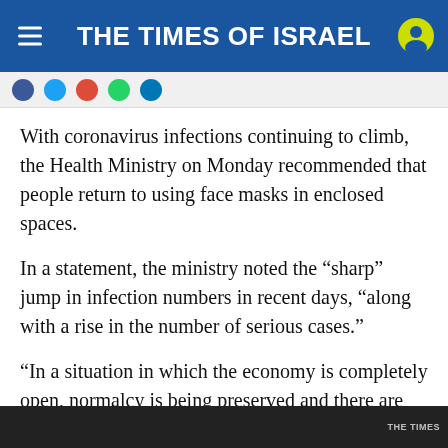THE TIMES OF ISRAEL
With coronavirus infections continuing to climb, the Health Ministry on Monday recommended that people return to using face masks in enclosed spaces.
In a statement, the ministry noted the “sharp” jump in infection numbers in recent days, “along with a rise in the number of serious cases.”
“In a situation in which the economy is completely open, normalcy is being preserved and there are no restrictions. It’s the responsibility of each of us to take precautions,” it said.
[Figure (photo): Bottom image strip showing a dark scene, partially visible, with 'THE TIMES' text visible in bottom right corner]